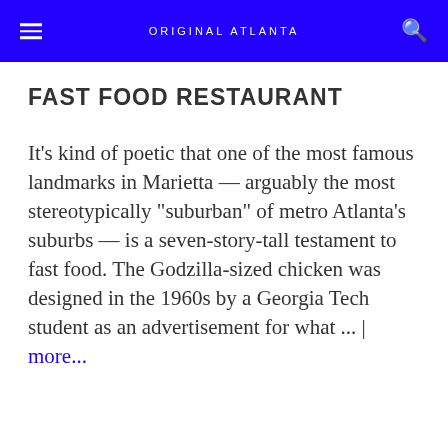ORIGINAL ATLANTA
FAST FOOD RESTAURANT
It's kind of poetic that one of the most famous landmarks in Marietta — arguably the most stereotypically "suburban" of metro Atlanta's suburbs — is a seven-story-tall testament to fast food. The Godzilla-sized chicken was designed in the 1960s by a Georgia Tech student as an advertisement for what ... | more...